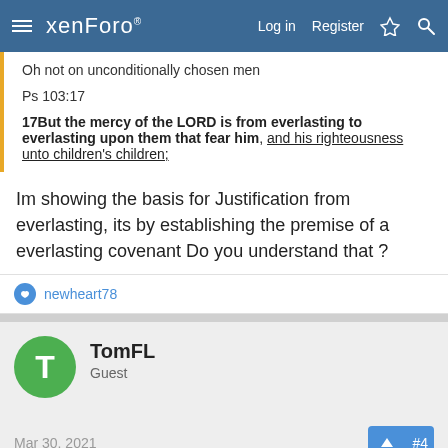xenForo — Log in  Register
Oh not on unconditionally chosen men
Ps 103:17
17But the mercy of the LORD is from everlasting to everlasting upon them that fear him, and his righteousness unto children's children;
Im showing the basis for Justification from everlasting, its by establishing the premise of a everlasting covenant Do you understand that ?
newheart78
TomFL
Guest
Mar 30, 2021  #4
brightfame52 said: